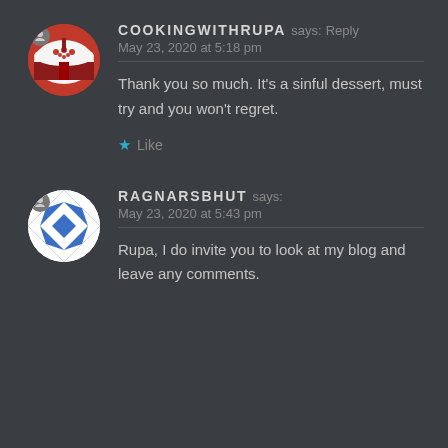[Figure (photo): Circular avatar showing a red velvet cake with white frosting and red berry toppings]
COOKINGWITHRUPA says: Reply
May 23, 2020 at 5:18 pm
Thank you so much. It's a sinful dessert, must try and you won't regret.
★ Like
[Figure (illustration): Circular avatar showing a blue and white geometric diamond/chess pattern]
RAGNARSBHUT says:
May 23, 2020 at 5:43 pm
Rupa, I do invite you to look at my blog and leave any comments.